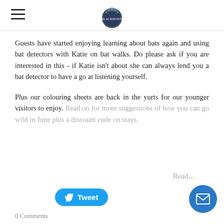[Logo: Blackdown Yurts]
Guests have started enjoying learning about bats again and using bat detectors with Katie on bat walks. Do please ask if you are interested in this - if Katie isn't about she can always lend you a bat detector to have a go at listening yourself.
Plus our colouring sheets are back in the yurts for our younger visitors to enjoy. Read on for more suggestions of how you can go wild in June plus a discount code on stays.
Read
Tweet
0 Comments